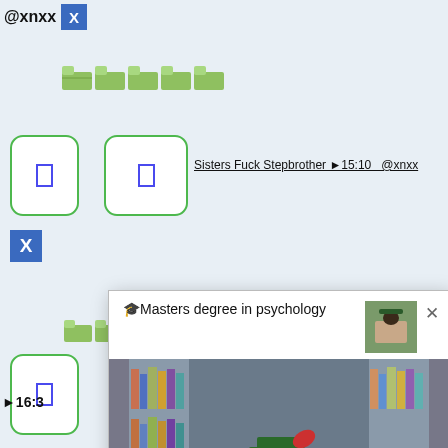[Figure (screenshot): Social media / adult website interface screenshot showing video listings with '@xnxx' handle, blue X logo, folder icons, rounded rectangle video thumbnails, a popup overlay with text 'Masters degree in psychology' and a photo of a woman in graduation cap and gown posing in a library. Partially visible video titles including 'Sisters Fuck Stepbrother ►15:10 @xnxx' and 'Gay Twin Brothers Fuck Bareback' at bottom.]